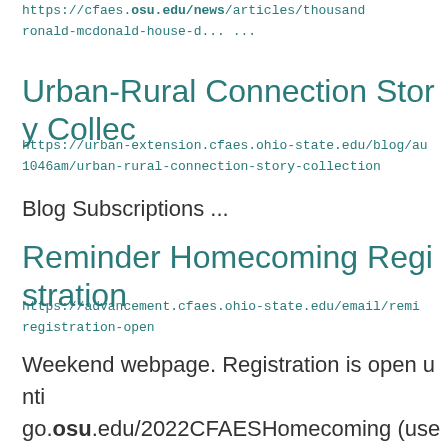https://cfaes.osu.edu/news/articles/thousand ronald-mcdonald-house-d... ...
Urban-Rural Connection Story Collec
https://urban-extension.cfaes.ohio-state.edu/blog/au 1046am/urban-rural-connection-story-collection
Blog Subscriptions ...
Reminder Homecoming Registration
https://advancement.cfaes.ohio-state.edu/email/remi registration-open
Weekend webpage. Registration is open unti go.osu.edu/2022CFAESHomecoming (userna SciencesCFAESNo364 W. Lane Ave., Suite 1 Ohio 43201 CFAESAdvancement@osu ...